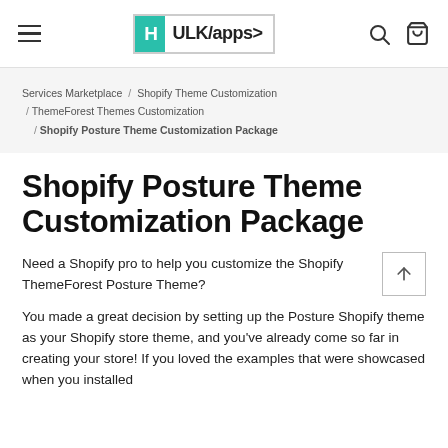HULK/apps
Services Marketplace / Shopify Theme Customization / ThemeForest Themes Customization / Shopify Posture Theme Customization Package
Shopify Posture Theme Customization Package
Need a Shopify pro to help you customize the Shopify ThemeForest Posture Theme?
You made a great decision by setting up the Posture Shopify theme as your Shopify store theme, and you've already come so far in creating your store! If you loved the examples that were showcased when you installed